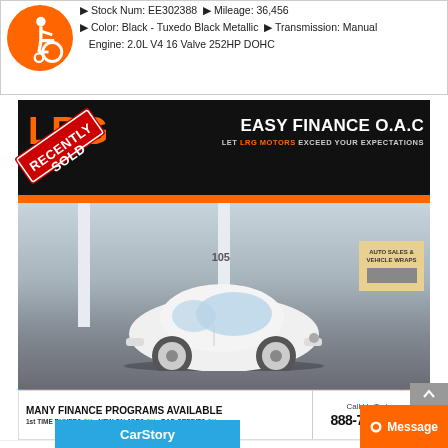Stock Num: EE302388 ▶ Mileage: 36,456
Color: Black - Tuxedo Black Metallic ▶ Transmission: Manual
Engine: 2.0L V4 16 Valve 252HP DOHC
[Figure (photo): LRG Motors ad banner with 'RECENTLY SOLD' diagonal stamp, LRG Motors logo on left, 'EASY FINANCE O.A.C - LET LRG MOTORS EXCEED YOUR EXPECTATIONS' on right, black background]
[Figure (photo): White VW Beetle parked in front of LRG Motors dealership, sunny day, dealership front visible with 'AUTO SALES & VEHICLE WRAPS' signage]
MANY FINANCE PROGRAMS AVAILABLE 1st TIME BUYER? OK   NEW ON JOB? OK   BAD CREDIT? OK
Call Us Today 888-729-4085
📷 33   🎥 0
● Message
CarStory